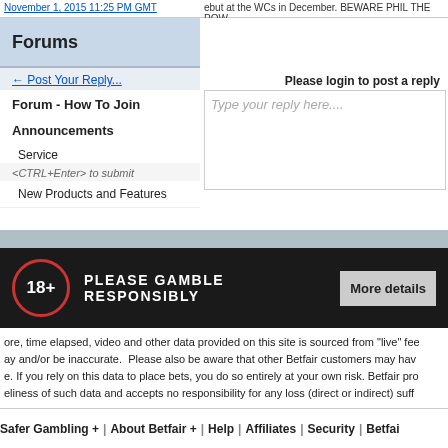November 1, 2015 11:25 PM GMT
ebut at the WCs in December. BEWARE PHIL THE POW
Forums
Post Your Reply...
Forum - How To Join
Announcements
Service
<CTRL+Enter> to submit
New Products and Features
Please login to post a reply
Type your reply here....
PLEASE GAMBLE RESPONSIBLY
More details
ore, time elapsed, video and other data provided on this site is sourced from "live" fee ay and/or be inaccurate.  Please also be aware that other Betfair customers may hav e. If you rely on this data to place bets, you do so entirely at your own risk. Betfair pro eliness of such data and accepts no responsibility for any loss (direct or indirect) suff
Safer Gambling + | About Betfair + | Help | Affiliates | Security | Betfai